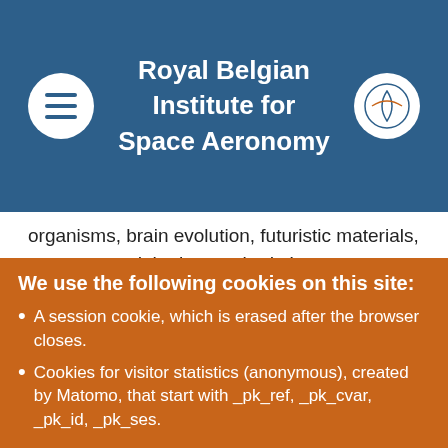Royal Belgian Institute for Space Aeronomy
organisms, brain evolution, futuristic materials, sea stars and the human body !
Follow all updates on Twitter @SoapboxscienceB. Come to the Place de la Bourse/Beursplein to hear them talk and to discover their fascinating cutting-edge research!
Details and programme of the event
We use the following cookies on this site:
A session cookie, which is erased after the browser closes.
Cookies for visitor statistics (anonymous), created by Matomo, that start with _pk_ref, _pk_cvar, _pk_id, _pk_ses.